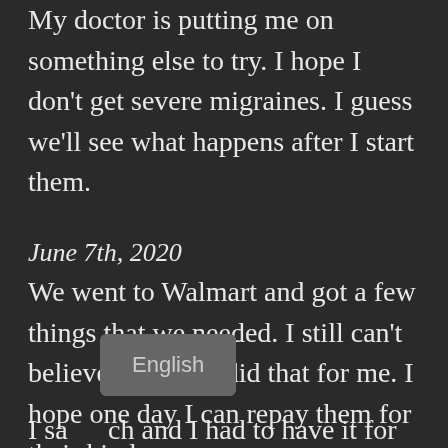My doctor is putting me on something else to try. I hope I don't get severe migraines. I guess we'll see what happens after I start them.
June 7th, 2020
We went to Walmart and got a few things that we needed. I still can't believe that Julie did that for me. I hope one day I can repay them for their kindness.
I sa...ch and I had to have it for my